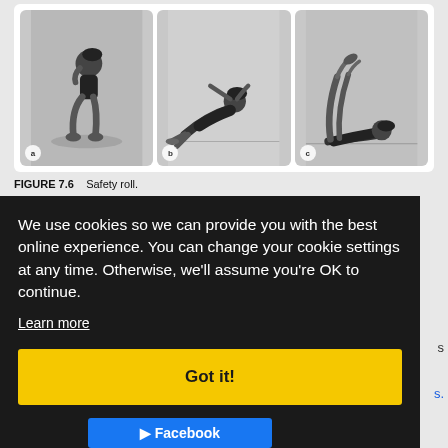[Figure (photo): Three black-and-white photos (a, b, c) showing a gymnast performing a safety roll sequence: (a) crouching position, (b) mid-roll on the floor, (c) completing the roll with legs raised.]
FIGURE 7.6    Safety roll.
We use cookies so we can provide you with the best online experience. You can change your cookie settings at any time. Otherwise, we'll assume you're OK to continue.
Learn more
Got it!